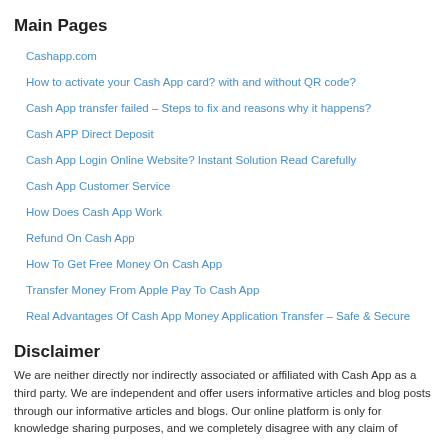Main Pages
Cashapp.com
How to activate your Cash App card? with and without QR code?
Cash App transfer failed – Steps to fix and reasons why it happens?
Cash APP Direct Deposit
Cash App Login Online Website? Instant Solution Read Carefully
Cash App Customer Service
How Does Cash App Work
Refund On Cash App
How To Get Free Money On Cash App
Transfer Money From Apple Pay To Cash App
Real Advantages Of Cash App Money Application Transfer – Safe & Secure
Disclaimer
We are neither directly nor indirectly associated or affiliated with Cash App as a third party. We are independent and offer users informative articles and blog posts through our informative articles and blogs. Our online platform is only for knowledge sharing purposes, and we completely disagree with any claim of